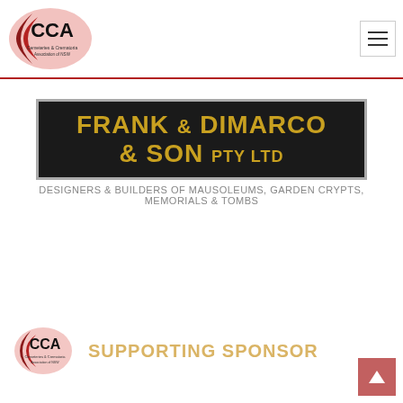CCA - Cemeteries & Crematoria Association of NSW
[Figure (logo): Frank DiMarco & Son PTY LTD logo — gold text on black background with grey border, tagline: DESIGNERS & BUILDERS OF MAUSOLEUMS, GARDEN CRYPTS, MEMORIALS & TOMBS]
[Figure (logo): CCA Cemeteries & Crematoria Association of NSW small logo with SUPPORTING SPONSOR text in gold]